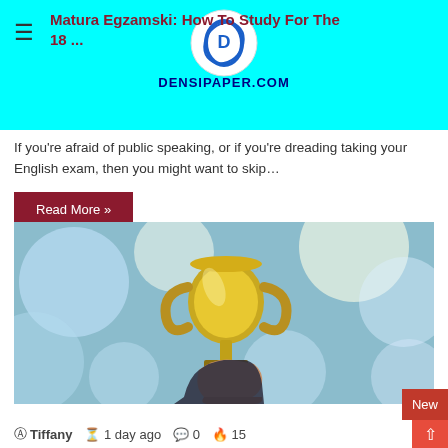DENSIPAPER.COM
Matura Egzamski: How To Study For The 18 ...
If you're afraid of public speaking, or if you're dreading taking your English exam, then you might want to skip...
Read More »
[Figure (photo): A hand holding a gold trophy cup against a blurred bokeh background of blue and white lights]
Tiffany  1 day ago  0  15